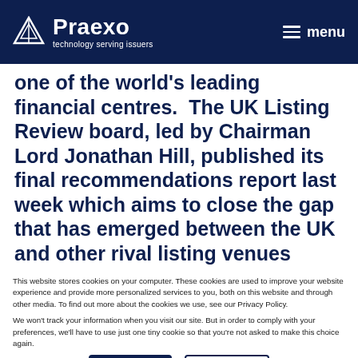Praexo – technology serving issuers | menu
one of the world's leading financial centres.  The UK Listing Review board, led by Chairman Lord Jonathan Hill, published its final recommendations report last week which aims to close the gap that has emerged between the UK and other rival listing venues primarily in the US. What is clear is that now is the time to
This website stores cookies on your computer. These cookies are used to improve your website experience and provide more personalized services to you, both on this website and through other media. To find out more about the cookies we use, see our Privacy Policy.
We won't track your information when you visit our site. But in order to comply with your preferences, we'll have to use just one tiny cookie so that you're not asked to make this choice again.
Accept | Decline